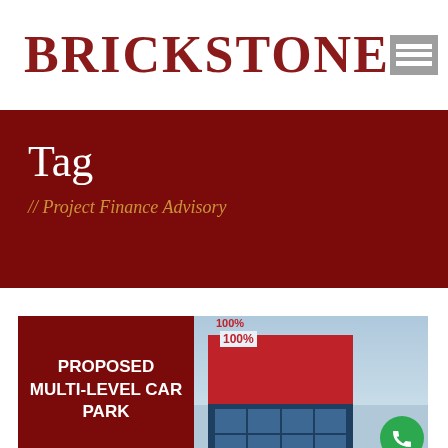[Figure (logo): Brickstone logo text in dark red serif font with hamburger menu icon]
Tag
// Project Finance Advisory
[Figure (photo): Card showing 'PROPOSED MULTI-LEVEL CAR PARK' in white bold text on dark red background left panel, and a photo of a multi-storey red and blue commercial building on right panel, with a green phone button overlay]